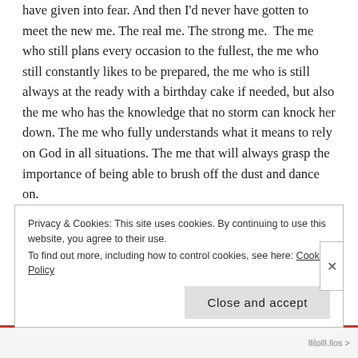have given into fear. And then I'd never have gotten to meet the new me. The real me. The strong me. The me who still plans every occasion to the fullest, the me who still constantly likes to be prepared, the me who is still always at the ready with a birthday cake if needed, but also the me who has the knowledge that no storm can knock her down. The me who fully understands what it means to rely on God in all situations. The me that will always grasp the importance of being able to brush off the dust and dance on.
Privacy & Cookies: This site uses cookies. By continuing to use this website, you agree to their use.
To find out more, including how to control cookies, see here: Cookie Policy
Close and accept